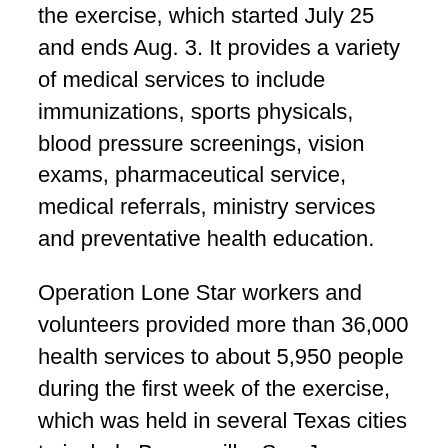the exercise, which started July 25 and ends Aug. 3. It provides a variety of medical services to include immunizations, sports physicals, blood pressure screenings, vision exams, pharmaceutical service, medical referrals, ministry services and preventative health education.
Operation Lone Star workers and volunteers provided more than 36,000 health services to about 5,950 people during the first week of the exercise, which was held in several Texas cities to include Brownsville, San Juan, Mission and Rio Grande City.
“We are providing free healthcare to the surrounding communities, those that are in underprivileged areas and those that do not have access on a day-to-day basis to affordable healthcare,” said Capt. Daniel Sem, a second-year, Operation Lone Star veteran. He is serving as the Texas Army National Guard officer in charge at